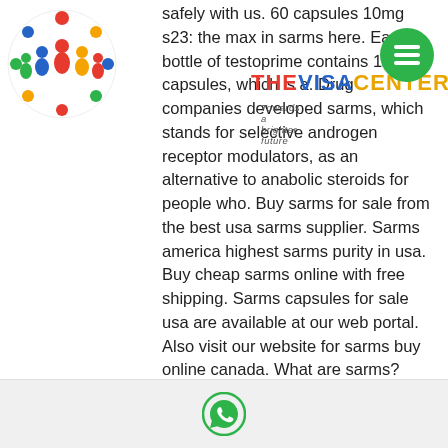[Figure (logo): Colorful circular logo with people figures in red, yellow, blue, green on white background]
THE VISA CENTER - Towards a brighter future
safely with us. 60 capsules 10mg s23: the max in sarms here. Each bottle of testoprime contains 120 capsules, which is a. Drug companies developed sarms, which stands for selective androgen receptor modulators, as an alternative to anabolic steroids for people who. Buy sarms for sale from the best usa sarms supplier. Sarms america highest sarms purity in usa. Buy cheap sarms online with free shipping. Sarms capsules for sale usa are available at our web portal. Also visit our website for sarms buy online canada. What are sarms? short for selective androgen receptor modulators, sarms are synthetic drugs designed to have effects similar to those of testosterone. Do sarms and prohormones also require pct? Andarine (s-4) capsules 60×50mg – xxl · andarine (s-4) capsules
[Figure (logo): WhatsApp icon at the bottom footer area]